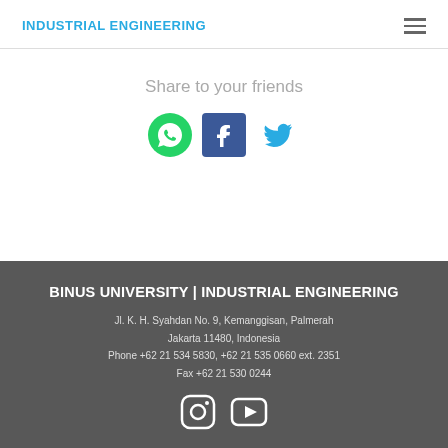INDUSTRIAL ENGINEERING
Share to your friends
[Figure (illustration): Social share icons: WhatsApp (green), Facebook (blue square), Twitter (blue bird)]
BINUS UNIVERSITY | INDUSTRIAL ENGINEERING
Jl. K. H. Syahdan No. 9, Kemanggisan, Palmerah
Jakarta 11480, Indonesia
Phone +62 21 534 5830, +62 21 535 0660 ext. 2351
Fax +62 21 530 0244
[Figure (illustration): Social media icons: Instagram and YouTube in white outline style]